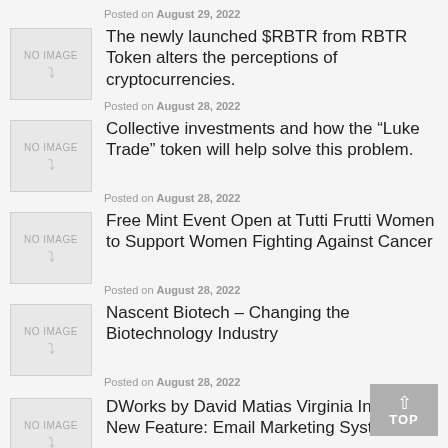Posted on August 29, 2022
[Figure (illustration): NO IMAGE placeholder box with smile icon]
The newly launched $RBTR from RBTR Token alters the perceptions of cryptocurrencies.
Posted on August 28, 2022
[Figure (illustration): NO IMAGE placeholder box with smile icon]
Collective investments and how the “Luke Trade” token will help solve this problem.
Posted on August 28, 2022
[Figure (illustration): NO IMAGE placeholder box with smile icon]
Free Mint Event Open at Tutti Frutti Women to Support Women Fighting Against Cancer
Posted on August 28, 2022
[Figure (illustration): NO IMAGE placeholder box with smile icon]
Nascent Biotech – Changing the Biotechnology Industry
Posted on August 28, 2022
[Figure (illustration): NO IMAGE placeholder box with smile icon]
DWorks by David Matias Virginia Introduces New Feature: Email Marketing System